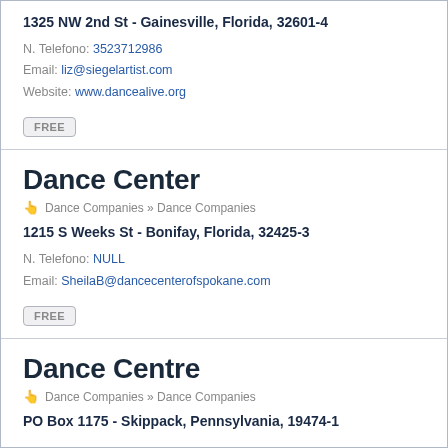1325 NW 2nd St - Gainesville, Florida, 32601-4
N. Telefono: 3523712986
Email: liz@siegelartist.com
Website: www.dancealive.org
FREE
Dance Center
Dance Companies » Dance Companies
1215 S Weeks St - Bonifay, Florida, 32425-3
N. Telefono: NULL
Email: SheilaB@dancecenterofspokane.com
FREE
Dance Centre
Dance Companies » Dance Companies
PO Box 1175 - Skippack, Pennsylvania, 19474-1